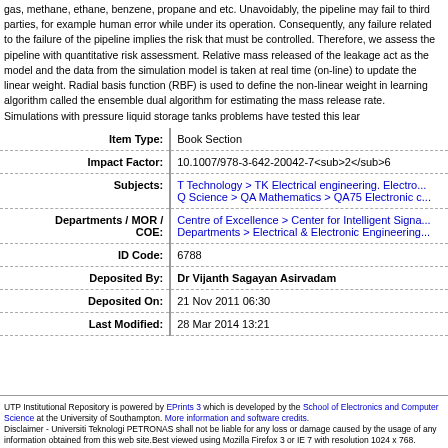gas, methane, ethane, benzene, propane and etc. Unavoidably, the pipeline may fail to third parties, for example human error while under its operation. Consequently, any failure related to the failure of the pipeline implies the risk that must be controlled. Therefore, we assess the pipeline with quantitative risk assessment. Relative mass released of the leakage act as the model and the data from the simulation model is taken at real time (on-line) to update the linear weight. Radial basis function (RBF) is used to define the non-linear weight in learning algorithm called the ensemble dual algorithm for estimating the mass release rate. Simulations with pressure liquid storage tanks problems have tested this lear...
| Field | Value |
| --- | --- |
| Item Type: | Book Section |
| Impact Factor: | 10.1007/978-3-642-20042-7<sub>2</sub>6 |
| Subjects: | T Technology > TK Electrical engineering. Electro...
Q Science > QA Mathematics > QA75 Electronic c... |
| Departments / MOR / COE: | Centre of Excellence > Center for Intelligent Signa...
Departments > Electrical & Electronic Engineering... |
| ID Code: | 6788 |
| Deposited By: | Dr Vijanth Sagayan Asirvadam |
| Deposited On: | 21 Nov 2011 06:30 |
| Last Modified: | 28 Mar 2014 13:21 |
UTP Institutional Repository is powered by EPrints 3 which is developed by the School of Electronics and Computer Science at the University of Southampton. More information and software credits. Disclaimer - Universiti Teknologi PETRONAS shall not be liable for any loss or damage caused by the usage of any information obtained from this web site.Best viewed using Mozilla Firefox 3 or IE 7 with resolution 1024 x 768.